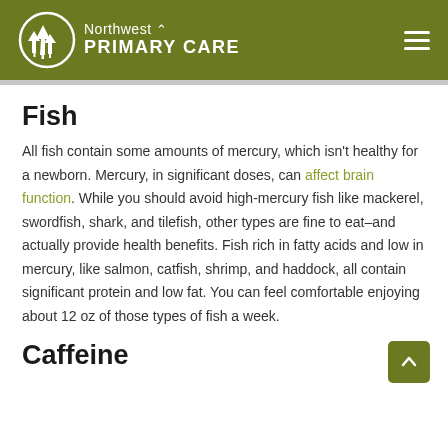Northwest Primary Care
Fish
All fish contain some amounts of mercury, which isn't healthy for a newborn. Mercury, in significant doses, can affect brain function. While you should avoid high-mercury fish like mackerel, swordfish, shark, and tilefish, other types are fine to eat–and actually provide health benefits. Fish rich in fatty acids and low in mercury, like salmon, catfish, shrimp, and haddock, all contain significant protein and low fat. You can feel comfortable enjoying about 12 oz of those types of fish a week.
Caffeine